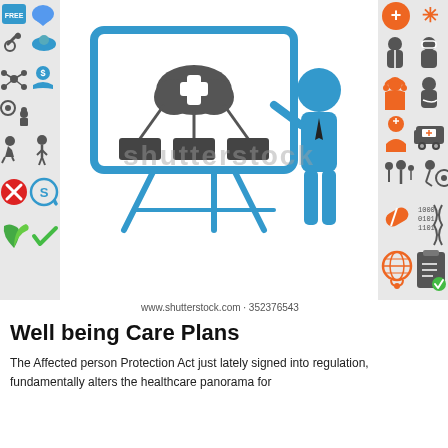[Figure (illustration): Shutterstock stock image showing a presenter figure (blue) pointing to a whiteboard with a cloud computing/healthcare network diagram. Flanked by two vertical strips of small healthcare and general icons on grey backgrounds. Shutterstock watermark visible. URL: www.shutterstock.com · 352376543]
www.shutterstock.com · 352376543
Well being Care Plans
The Affected person Protection Act just lately signed into regulation, fundamentally alters the healthcare panorama for